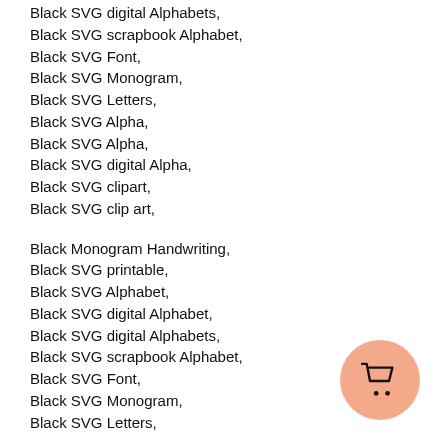Black SVG digital Alphabets,
Black SVG scrapbook Alphabet,
Black SVG Font,
Black SVG Monogram,
Black SVG Letters,
Black SVG Alpha,
Black SVG Alpha,
Black SVG digital Alpha,
Black SVG clipart,
Black SVG clip art,
Black Monogram Handwriting,
Black SVG printable,
Black SVG Alphabet,
Black SVG digital Alphabet,
Black SVG digital Alphabets,
Black SVG scrapbook Alphabet,
Black SVG Font,
Black SVG Monogram,
Black SVG Letters,
[Figure (illustration): Shopping cart button — a salmon/peach colored circle with a black shopping cart icon inside, positioned in the bottom-right corner.]